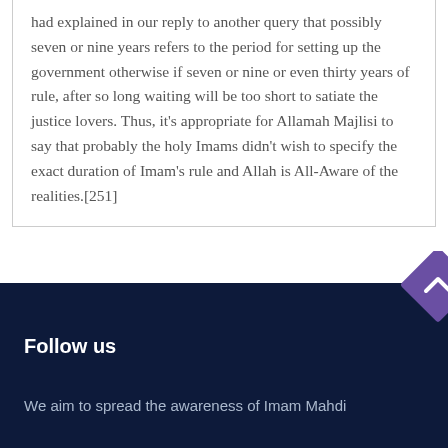had explained in our reply to another query that possibly seven or nine years refers to the period for setting up the government otherwise if seven or nine or even thirty years of rule, after so long waiting will be too short to satiate the justice lovers. Thus, it's appropriate for Allamah Majlisi to say that probably the holy Imams didn't wish to specify the exact duration of Imam's rule and Allah is All-Aware of the realities.[251]
Follow us
We aim to spread the awareness of Imam Mahdi